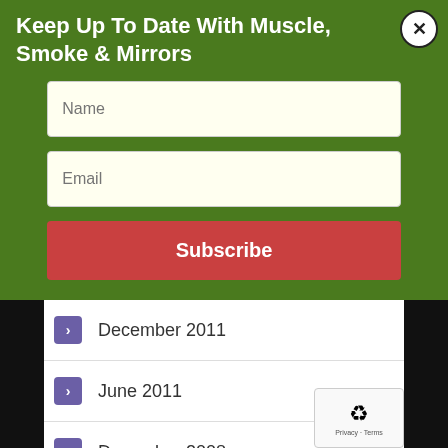Keep Up To Date With Muscle, Smoke & Mirrors
[Figure (screenshot): Newsletter subscription form with Name and Email input fields and a Subscribe button on a green background]
December 2011
June 2011
December 2008